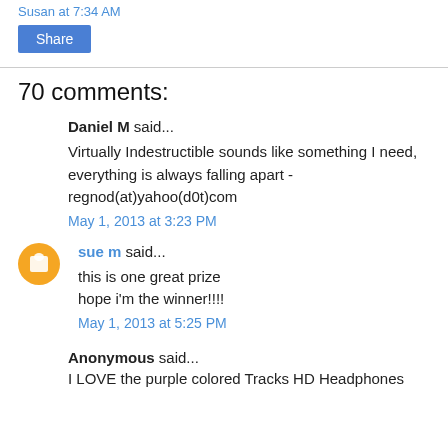Susan at 7:34 AM
Share
70 comments:
Daniel M said...
Virtually Indestructible sounds like something I need, everything is always falling apart - regnod(at)yahoo(d0t)com
May 1, 2013 at 3:23 PM
sue m said...
this is one great prize
hope i'm the winner!!!!
May 1, 2013 at 5:25 PM
Anonymous said...
I LOVE the purple colored Tracks HD Headphones